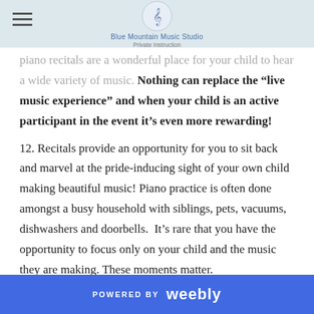Blue Mountain Music Studio — Private Instruction
piano recitals are a wonderful place for your child to hear a wide variety of music. Nothing can replace the “live music experience” and when your child is an active participant in the event it’s even more rewarding!
12. Recitals provide an opportunity for you to sit back and marvel at the pride-inducing sight of your own child making beautiful music! Piano practice is often done amongst a busy household with siblings, pets, vacuums, dishwashers and doorbells.  It’s rare that you have the opportunity to focus only on your child and the music they are making. These moments matter.
POWERED BY weebly